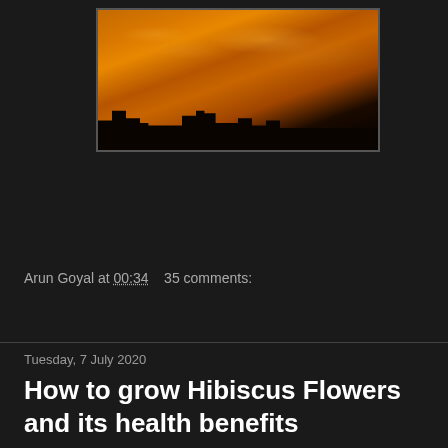[Figure (photo): Dramatic orange sunset sky with wispy clouds and dark silhouettes of buildings at the bottom]
Arun Goyal at 00:34    35 comments:
Share
Tuesday, 7 July 2020
How to grow Hibiscus Flowers and its health benefits